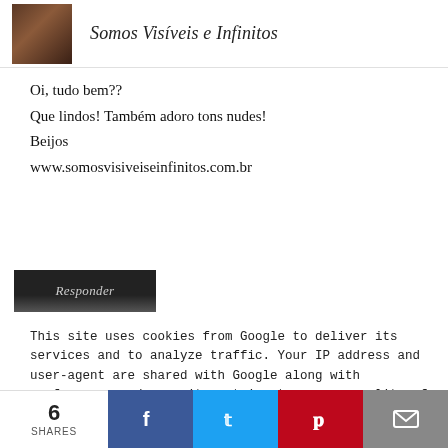Somos Visíveis e Infinitos
Oi, tudo bem??
Que lindos! Também adoro tons nudes!
Beijos
www.somosvisiveiseinfinitos.com.br
[Figure (screenshot): Responder button - dark/black background with italic gray text 'Responder']
This site uses cookies from Google to deliver its services and to analyze traffic. Your IP address and user-agent are shared with Google along with performance and security metrics to ensure quality of service, generate usage statistics, and to detect and address abuse.
Eu gosto bastante de tons nude nos lábios, embora não tenho nenhum batom nude. Mas também adoro batons com cores
6 SHARES | Facebook | Twitter | Pinterest | Email